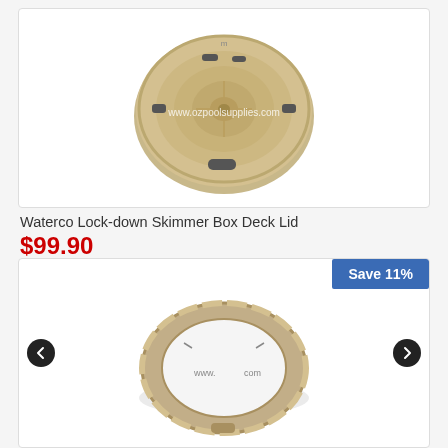[Figure (photo): Waterco Lock-down Skimmer Box Deck Lid - circular beige/tan colored pool skimmer lid with watermark 'www.ozpoolsupplies.com']
Waterco Lock-down Skimmer Box Deck Lid
$99.90
[Figure (photo): Pool skimmer ring/collar - circular beige/tan ring component with watermark 'www.ozpoolsupplies.com' and Save 11% badge]
Save 11%